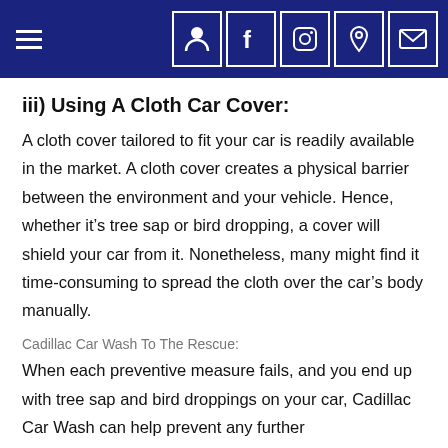Navigation header with hamburger menu and social/contact icons
iii) Using A Cloth Car Cover:
A cloth cover tailored to fit your car is readily available in the market. A cloth cover creates a physical barrier between the environment and your vehicle. Hence, whether it’s tree sap or bird dropping, a cover will shield your car from it. Nonetheless, many might find it time-consuming to spread the cloth over the car’s body manually.
Cadillac Car Wash To The Rescue:
When each preventive measure fails, and you end up with tree sap and bird droppings on your car, Cadillac Car Wash can help prevent any further